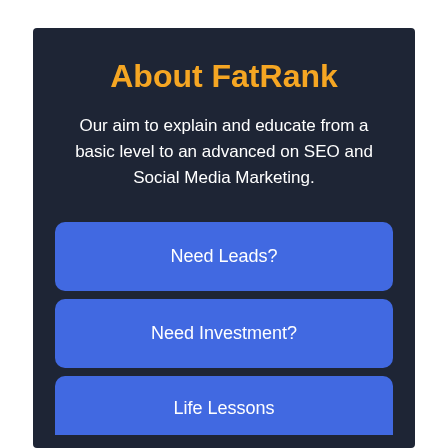About FatRank
Our aim to explain and educate from a basic level to an advanced on SEO and Social Media Marketing.
Need Leads?
Need Investment?
Life Lessons